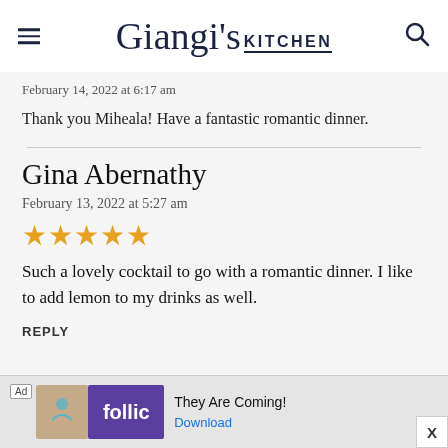Giangi's Kitchen
February 14, 2022 at 6:17 am
Thank you Miheala! Have a fantastic romantic dinner.
Gina Abernathy
February 13, 2022 at 5:27 am
Such a lovely cocktail to go with a romantic dinner. I like to add lemon to my drinks as well.
REPLY